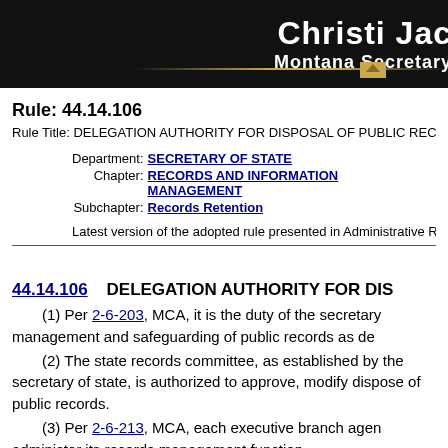[Figure (other): Header banner with 'Christi Jac' (Jacobs) name and 'Montana Secretary' of State title in white text on black background with gold decorative elements]
Rule: 44.14.106
Rule Title: DELEGATION AUTHORITY FOR DISPOSAL OF PUBLIC RECORD
| Department: | SECRETARY OF STATE |
| Chapter: | RECORDS AND INFORMATION MANAGEMENT |
| Subchapter: | Records Retention |
Latest version of the adopted rule presented in Administrative Rules of M
44.14.106    DELEGATION AUTHORITY FOR DIS
(1) Per 2-6-203, MCA, it is the duty of the secretary management and safeguarding of public records as de
(2) The state records committee, as established by the secretary of state, is authorized to approve, modify dispose of public records.
(3) Per 2-6-213, MCA, each executive branch agen administer its records management function.
(4) Any state agency with a records management p